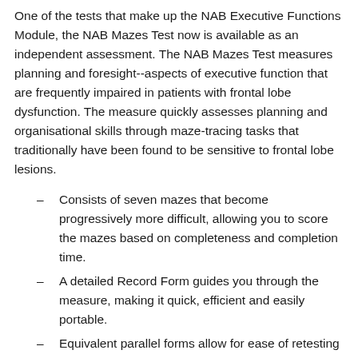One of the tests that make up the NAB Executive Functions Module, the NAB Mazes Test now is available as an independent assessment. The NAB Mazes Test measures planning and foresight--aspects of executive function that are frequently impaired in patients with frontal lobe dysfunction. The measure quickly assesses planning and organisational skills through maze-tracing tasks that traditionally have been found to be sensitive to frontal lobe lesions.
Consists of seven mazes that become progressively more difficult, allowing you to score the mazes based on completeness and completion time.
A detailed Record Form guides you through the measure, making it quick, efficient and easily portable.
Equivalent parallel forms allow for ease of retesting and reduce the likelihood of practice effects.
Related Products